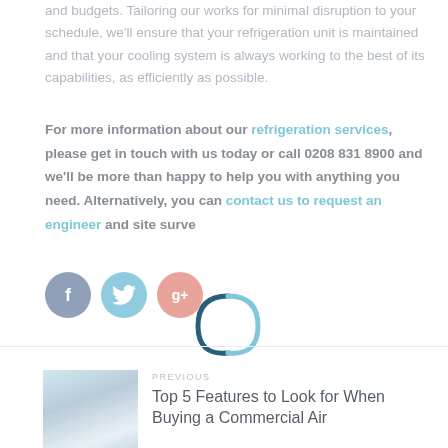and budgets. Tailoring our works for minimal disruption to your schedule, we'll ensure that your refrigeration unit is maintained and that your cooling system is always working to the best of its capabilities, as efficiently as possible.
For more information about our refrigeration services, please get in touch with us today or call 0208 831 8900 and we'll be more than happy to help you with anything you need. Alternatively, you can contact us to request an engineer and site surve...
[Figure (other): Loading spinner animation overlay showing open parenthesis style arcs in teal/dark blue color]
[Figure (other): Social media sharing icons: Facebook (blue-grey circle with f), Twitter (light blue circle with bird), Google+ (salmon/pink circle with g+)]
[Figure (photo): Thumbnail photo showing a commercial air conditioning or refrigeration unit in light blue/grey tones]
PREVIOUS
Top 5 Features to Look for When Buying a Commercial Air...